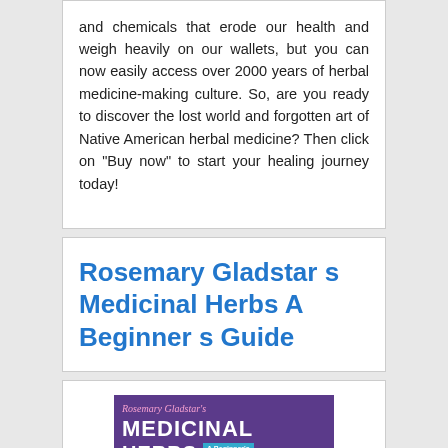and chemicals that erode our health and weigh heavily on our wallets, but you can now easily access over 2000 years of herbal medicine-making culture. So, are you ready to discover the lost world and forgotten art of Native American herbal medicine? Then click on "Buy now" to start your healing journey today!
Rosemary Gladstar s Medicinal Herbs A Beginner s Guide
[Figure (photo): Book cover of Rosemary Gladstar's Medicinal Herbs: A Beginner's Guide, with purple background, pink and white text, and green botanical imagery at the bottom]